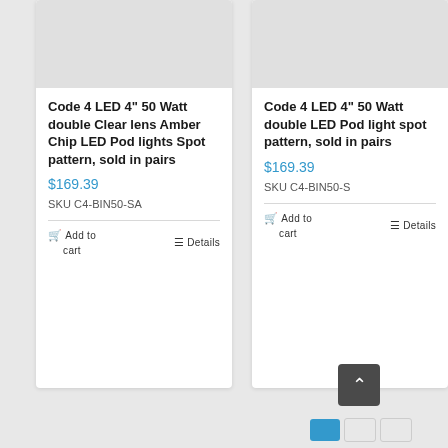[Figure (photo): Product image placeholder, light gray background, left card]
Code 4 LED 4" 50 Watt double Clear lens Amber Chip LED Pod lights Spot pattern, sold in pairs
$169.39
SKU C4-BIN50-SA
Add to cart   Details
[Figure (photo): Product image placeholder, light gray background, right card]
Code 4 LED 4" 50 Watt double LED Pod light spot pattern, sold in pairs
$169.39
SKU C4-BIN50-S
Add to cart   Details